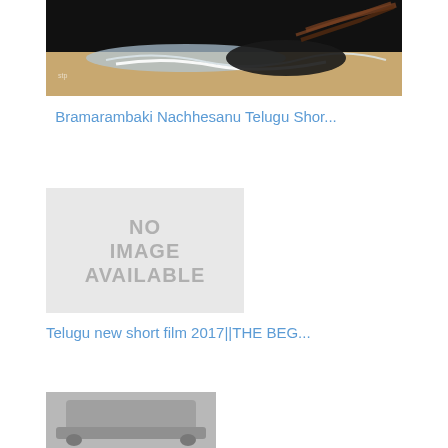[Figure (photo): Beach photo with a person in black clothing lying on sandy beach near ocean waves, dark dramatic background]
Bramarambaki Nachhesanu Telugu Shor...
[Figure (other): No image available placeholder - grey box with text NO IMAGE AVAILABLE]
Telugu new short film 2017||THE BEG...
[Figure (photo): Partial image of what appears to be a car or vehicle, grey tones]